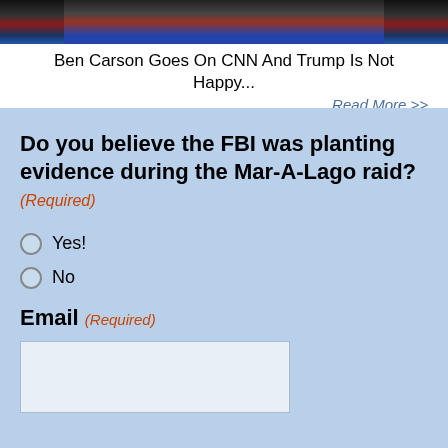[Figure (photo): Photo of Ben Carson in a suit, cropped at top of page]
Ben Carson Goes On CNN And Trump Is Not Happy...
Read More >>
Do you believe the FBI was planting evidence during the Mar-A-Lago raid? (Required)
Yes!
No
Email (Required)